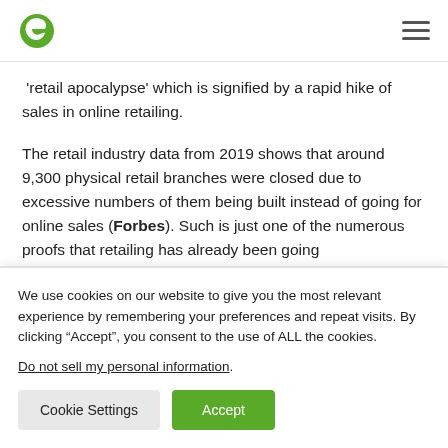e [logo] [hamburger menu]
'retail apocalypse' which is signified by a rapid hike of sales in online retailing.
The retail industry data from 2019 shows that around 9,300 physical retail branches were closed due to excessive numbers of them being built instead of going for online sales (Forbes). Such is just one of the numerous proofs that retailing has already been going
We use cookies on our website to give you the most relevant experience by remembering your preferences and repeat visits. By clicking “Accept”, you consent to the use of ALL the cookies.
Do not sell my personal information.